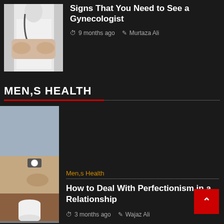[Figure (photo): Doctor in white coat with stethoscope, hands crossed over abdomen]
Signs That You Need to See a Gynecologist
9 months ago  Murtaza Ali
MEN,S HEALTH
[Figure (photo): Person wearing watch with hands clasped on table next to white cup]
Men,s Health
How to Deal With Perfectionism in a Relationship
3 months ago  Wajaz Ali